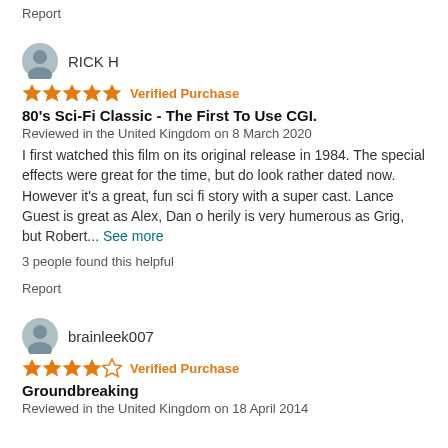Report
RICK H
★★★★★ Verified Purchase
80's Sci-Fi Classic - The First To Use CGI.
Reviewed in the United Kingdom on 8 March 2020
I first watched this film on its original release in 1984. The special effects were great for the time, but do look rather dated now. However it's a great, fun sci fi story with a super cast. Lance Guest is great as Alex, Dan o herily is very humerous as Grig, but Robert... See more
3 people found this helpful
Report
brainleek007
★★★★☆ Verified Purchase
Groundbreaking
Reviewed in the United Kingdom on 18 April 2014